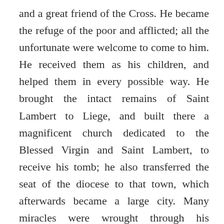and a great friend of the Cross. He became the refuge of the poor and afflicted; all the unfortunate were welcome to come to him. He received them as his children, and helped them in every possible way. He brought the intact remains of Saint Lambert to Liege, and built there a magnificent church dedicated to the Blessed Virgin and Saint Lambert, to receive his tomb; he also transferred the seat of the diocese to that town, which afterwards became a large city. Many miracles were wrought through his prayers, and he taught his people to have recourse to processions, carrying the relics of the Saints to obtain